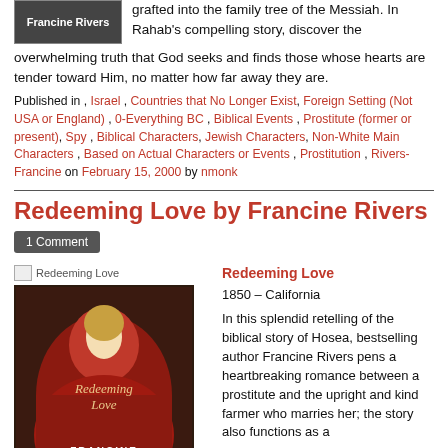grafted into the family tree of the Messiah. In Rahab's compelling story, discover the overwhelming truth that God seeks and finds those whose hearts are tender toward Him, no matter how far away they are.
Published in , Israel , Countries that No Longer Exist, Foreign Setting (Not USA or England) , 0-Everything BC , Biblical Events , Prostitute (former or present), Spy , Biblical Characters, Jewish Characters, Non-White Main Characters , Based on Actual Characters or Events , Prostitution , Rivers-Francine on February 15, 2000 by nmonk
Redeeming Love by Francine Rivers
1 Comment
[Figure (photo): Book cover image for Redeeming Love by Francine Rivers showing a woman in a red dress]
Redeeming Love
1850 – California
In this splendid retelling of the biblical story of Hosea, bestselling author Francine Rivers pens a heartbreaking romance between a prostitute and the upright and kind farmer who marries her; the story also functions as a reminder of God's unconditional love for his people. Redeeming Love